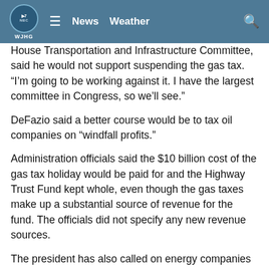WJHG | News | Weather
House Transportation and Infrastructure Committee, said he would not support suspending the gas tax. “I’m going to be working against it. I have the largest committee in Congress, so we’ll see.”
DeFazio said a better course would be to tax oil companies on “windfall profits.”
Administration officials said the $10 billion cost of the gas tax holiday would be paid for and the Highway Trust Fund kept whole, even though the gas taxes make up a substantial source of revenue for the fund. The officials did not specify any new revenue sources.
The president has also called on energy companies to accept lower profit margins to increase oil production and refining capacity for gasoline.